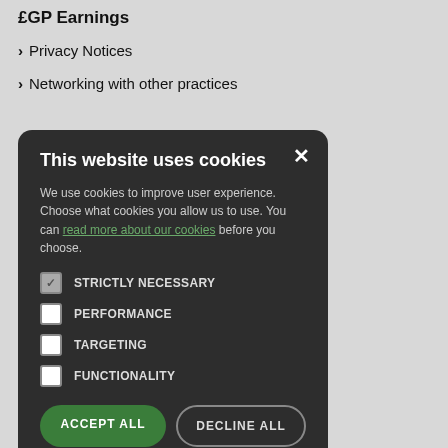£GP Earnings
› Privacy Notices
› Networking with other practices
[Figure (screenshot): Cookie consent modal dialog with dark background. Title: 'This website uses cookies'. Body text: 'We use cookies to improve user experience. Choose what cookies you allow us to use. You can read more about our cookies before you choose.' Checkboxes: STRICTLY NECESSARY (checked), PERFORMANCE (unchecked), TARGETING (unchecked), FUNCTIONALITY (unchecked). Buttons: ACCEPT ALL (green), DECLINE ALL (outline).]
› S... Can Read...